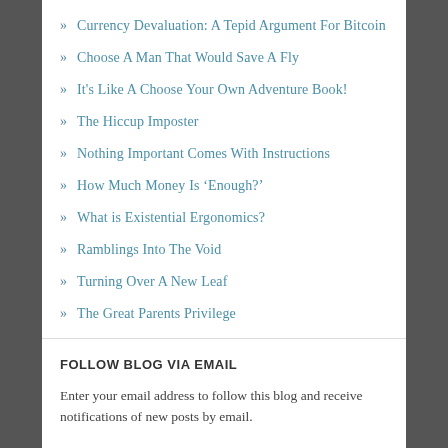Currency Devaluation: A Tepid Argument For Bitcoin
Choose A Man That Would Save A Fly
It's Like A Choose Your Own Adventure Book!
The Hiccup Imposter
Nothing Important Comes With Instructions
How Much Money Is ‘Enough?’
What is Existential Ergonomics?
Ramblings Into The Void
Turning Over A New Leaf
The Great Parents Privilege
FOLLOW BLOG VIA EMAIL
Enter your email address to follow this blog and receive notifications of new posts by email.